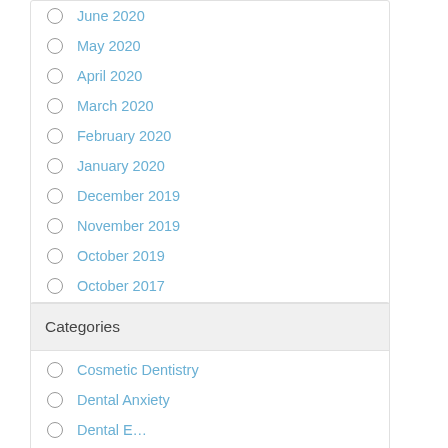June 2020
May 2020
April 2020
March 2020
February 2020
January 2020
December 2019
November 2019
October 2019
October 2017
Categories
Cosmetic Dentistry
Dental Anxiety
Dental E…